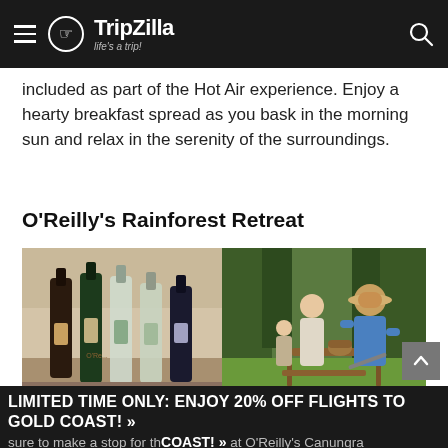TripZilla — life's a trip!
included as part of the Hot Air experience. Enjoy a hearty breakfast spread as you bask in the morning sun and relax in the serenity of the surroundings.
O'Reilly's Rainforest Retreat
[Figure (photo): Two side-by-side photos: left shows O'Reilly's wine bottles arranged on a surface; right shows a couple and child having a picnic outdoors in a rainforest setting.]
Image credit: O' Reilly's
LIMITED TIME ONLY: ENJOY 20% OFF FLIGHTS TO GOLD COAST! » sure to make a stop for th... at O'Reilly's Canungra